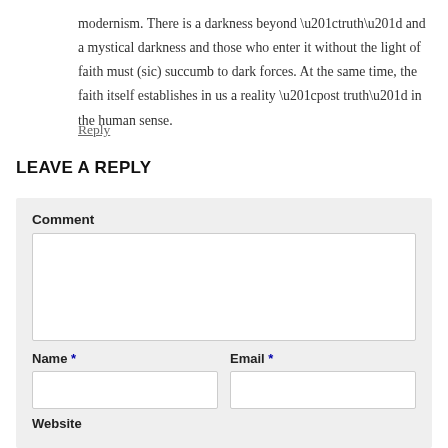modernism. There is a darkness beyond “truth” and a mystical darkness and those who enter it without the light of faith must (sic) succumb to dark forces. At the same time, the faith itself establishes in us a reality “post truth” in the human sense.
Reply
LEAVE A REPLY
Comment
Name *
Email *
Website